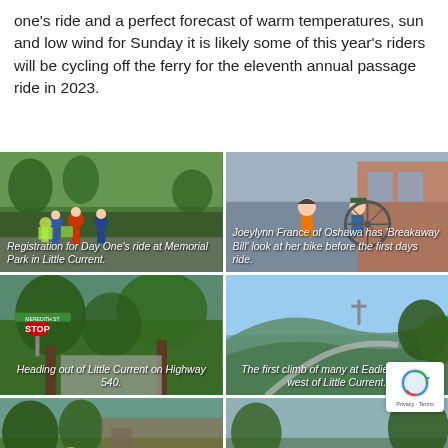one's ride and a perfect forecast of warm temperatures, sun and low wind for Sunday it is likely some of this year's riders will be cycling off the ferry for the eleventh annual passage ride in 2023.
[Figure (photo): Group of cyclists in helmets and bright vests at Memorial Park registration area with trees in background]
Registration for Day One's ride at Memorial Park in Little Current.
[Figure (photo): Joeylynn France of Oshawa having her bike checked by 'Breakaway Bill' before the first day's ride]
Joeylynn France of Oshawa has 'Breakaway Bill' look at her bike before the first days ride.
[Figure (photo): Stop sign at intersection with tree-lined street, cyclists heading out on Highway 540 from Little Current]
Heading out of Little Current on Highway 540.
[Figure (photo): Scenic view of hill climb at Eadie's Hill just west of Little Current with blue sky and trees]
The first climb of many at Eadie's Hill just west of Little Current.
[Figure (photo): Karen Kahanskey of Toronto at the event]
Karen Kahanskey of Toronto takes advantage of the rest area...
[Figure (photo): Cyclists relaxing after day one's ride at the Manitoulin Review]
Time to relax after day one's ride at the Manitoulin Review...